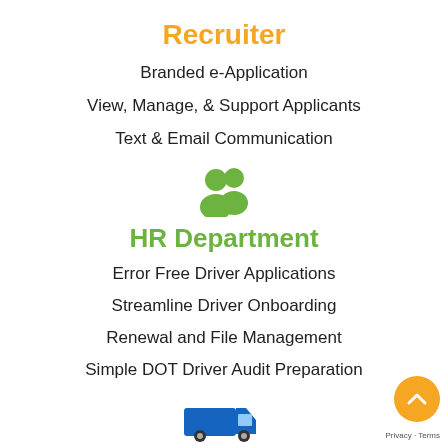Recruiter
Branded e-Application
View, Manage, & Support Applicants
Text & Email Communication
[Figure (illustration): Green icon of two people/users representing HR or group]
HR Department
Error Free Driver Applications
Streamline Driver Onboarding
Renewal and File Management
Simple DOT Driver Audit Preparation
[Figure (illustration): Blue truck icon at the bottom center]
[Figure (illustration): Orange circular back-to-top button with upward arrow chevron]
Privacy · Terms